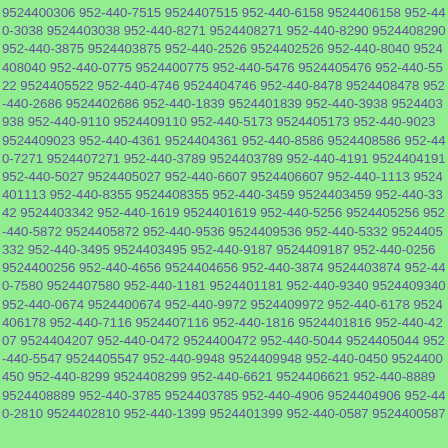9524400306 952-440-7515 9524407515 952-440-6158 9524406158 952-440-3038 9524403038 952-440-8271 9524408271 952-440-8290 9524408290 952-440-3875 9524403875 952-440-2526 9524402526 952-440-8040 9524408040 952-440-0775 9524400775 952-440-5476 9524405476 952-440-5522 9524405522 952-440-4746 9524404746 952-440-8478 9524408478 952-440-2686 9524402686 952-440-1839 9524401839 952-440-3938 9524403938 952-440-9110 9524409110 952-440-5173 9524405173 952-440-9023 9524409023 952-440-4361 9524404361 952-440-8586 9524408586 952-440-7271 9524407271 952-440-3789 9524403789 952-440-4191 9524404191 952-440-5027 9524405027 952-440-6607 9524406607 952-440-1113 9524401113 952-440-8355 9524408355 952-440-3459 9524403459 952-440-3342 9524403342 952-440-1619 9524401619 952-440-5256 9524405256 952-440-5872 9524405872 952-440-9536 9524409536 952-440-5332 9524405332 952-440-3495 9524403495 952-440-9187 9524409187 952-440-0256 9524400256 952-440-4656 9524404656 952-440-3874 9524403874 952-440-7580 9524407580 952-440-1181 9524401181 952-440-9340 9524409340 952-440-0674 9524400674 952-440-9972 9524409972 952-440-6178 9524406178 952-440-7116 9524407116 952-440-1816 9524401816 952-440-4207 9524404207 952-440-0472 9524400472 952-440-5044 9524405044 952-440-5547 9524405547 952-440-9948 9524409948 952-440-0450 9524400450 952-440-8299 9524408299 952-440-6621 9524406621 952-440-8889 9524408889 952-440-3785 9524403785 952-440-4906 9524404906 952-440-2810 9524402810 952-440-1399 9524401399 952-440-0587 9524400587